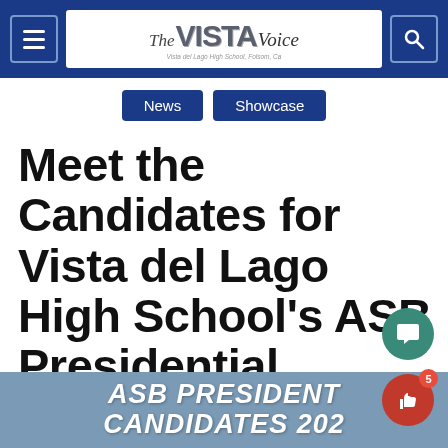The Vista Voice — Vista del Lago High School, Folsom, CA
News   Showcase
Meet the Candidates for Vista del Lago High School's ASB Presidential Election
[Figure (illustration): Blue banner at bottom reading 'ASB PRESIDENT CANDIDATES 202...' in bold italic white text on a steel-blue background]